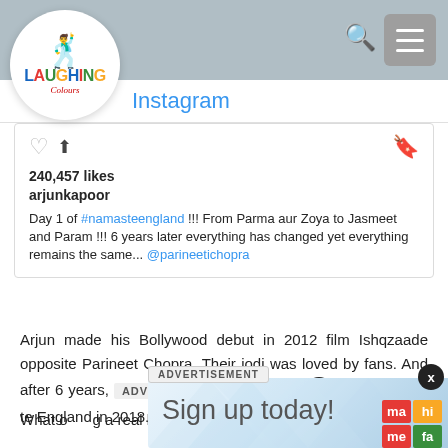[Figure (screenshot): Laughing Colours logo in white circle on grey top bar]
Instagram
240,457 likes
arjunkapoor
Day 1 of #namasteengland !!! From Parma aur Zoya to Jasmeet and Param !!! 6 years later everything has changed yet everything remains the same... @parineetichopra
Arjun made his Bollywood debut in 2012 film Ishqzaade opposite Parineet Chopra. Their jodi was loved by fans. And after 6 years, ted once ain for Namaste England in 2018.
What o a real life co now in the co
[Figure (screenshot): Advertisement overlay: ADVERTISEMENT label, X close button, Sign up today! text, and ma hi / me fa logo grid]